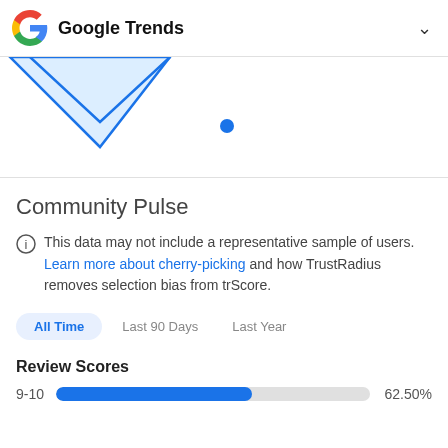Google Trends
[Figure (illustration): Partial view of a diamond/downward-pointing arrow shape in light blue with a blue outline, and a single blue dot below it, suggesting a carousel or map pin indicator.]
Community Pulse
This data may not include a representative sample of users. Learn more about cherry-picking and how TrustRadius removes selection bias from trScore.
All Time   Last 90 Days   Last Year
Review Scores
9-10   62.50%